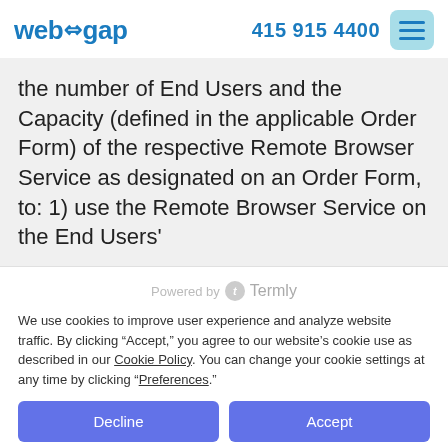web+gap   415 915 4400
the number of End Users and the Capacity (defined in the applicable Order Form) of the respective Remote Browser Service as designated on an Order Form, to: 1) use the Remote Browser Service on the End Users'
Powered by Termly
We use cookies to improve user experience and analyze website traffic. By clicking “Accept,” you agree to our website’s cookie use as described in our Cookie Policy. You can change your cookie settings at any time by clicking “Preferences.”
Decline | Accept
Preferences